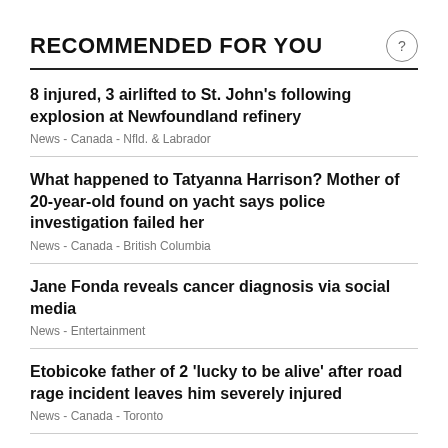RECOMMENDED FOR YOU
8 injured, 3 airlifted to St. John's following explosion at Newfoundland refinery
What happened to Tatyanna Harrison? Mother of 20-year-old found on yacht says police investigation failed her
Jane Fonda reveals cancer diagnosis via social media
Etobicoke father of 2 'lucky to be alive' after road rage incident leaves him severely injured